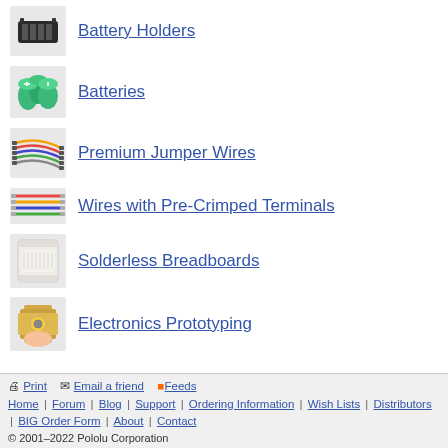Battery Holders
Batteries
Premium Jumper Wires
Wires with Pre-Crimped Terminals
Solderless Breadboards
Electronics Prototyping
Print | Email a friend | Feeds
Home | Forum | Blog | Support | Ordering Information | Wish Lists | Distributors | BIG Order Form | About | Contact
© 2001–2022 Pololu Corporation